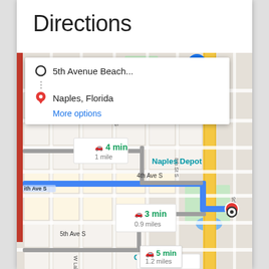Directions
[Figure (map): Google Maps screenshot showing directions in Naples, Florida. Map displays 5th Avenue Beach as origin and Naples, Florida as destination. Three route options shown: 4 min / 1 mile, 3 min / 0.9 miles (highlighted in blue), and 5 min / 1.2 miles. Landmarks visible include The Claw Bar (orange text), Naples Depot (teal text), Cambier Park (teal text). Street labels include 4th Ave S, 5th Ave S, 6th St S, 7th St N, 8th St S, 9th St S, W Lake Dr, Central Ave. A direction popup shows origin (5th Avenue Beach...) and destination (Naples, Florida) with a More options link.]